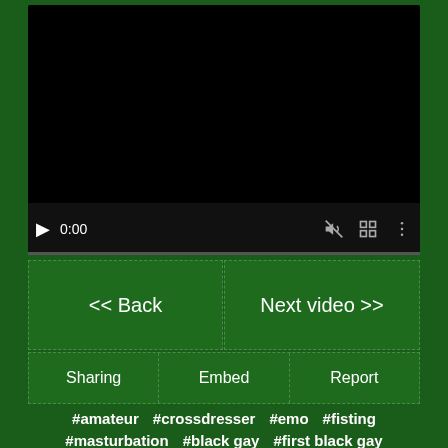[Figure (screenshot): Video player with black screen, showing play button, 0:00 timestamp, mute icon, fullscreen icon, and menu icon. Progress bar at bottom.]
<< Back
Next video >>
Sharing
Embed
Report
#amateur  #crossdresser  #emo  #fisting
#masturbation  #black gay  #first black gay